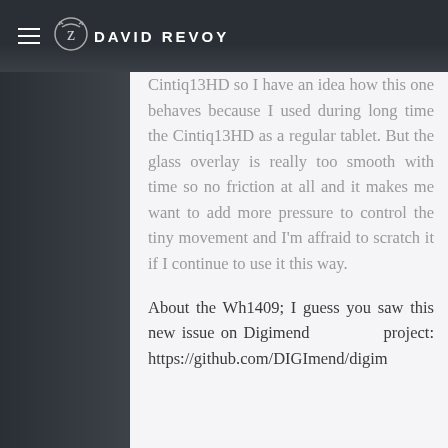DAVID REVOY
Cintiq13HD so I have an idea how this one behaves because I used during long time the Cintiq13HD as a regular tablet. But the glass overlay is really too smooth with time so no friction at all and it makes me want to add more pressure to control the tiny movement and I'm affraid to scratch it if I continue to use it this way.

About the Wh1409; I guess you saw this new issue on Digimend project: https://github.com/DIGImend/digim...